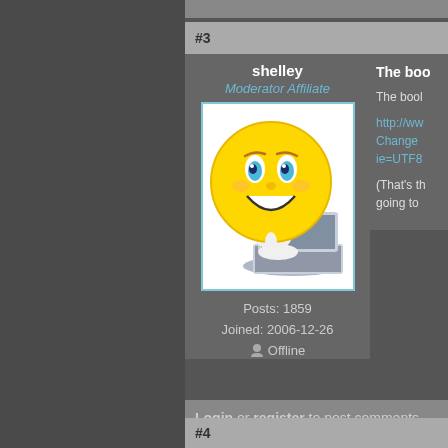#3
shelley
Moderator Affiliate
[Figure (illustration): Yellow smiley face emoji character typing on a laptop computer]
Posts: 1859
Joined: 2006-12-26
Offline
The boo
The bool
http://ww
Change
ie=UTF8
(That's th
going to
Login or register to post comments
#4